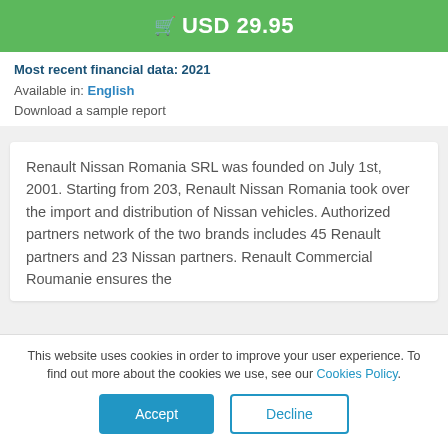USD 29.95
Most recent financial data: 2021
Available in: English
Download a sample report
Renault Nissan Romania SRL was founded on July 1st, 2001. Starting from 203, Renault Nissan Romania took over the import and distribution of Nissan vehicles. Authorized partners network of the two brands includes 45 Renault partners and 23 Nissan partners. Renault Commercial Roumanie ensures the
This website uses cookies in order to improve your user experience. To find out more about the cookies we use, see our Cookies Policy.